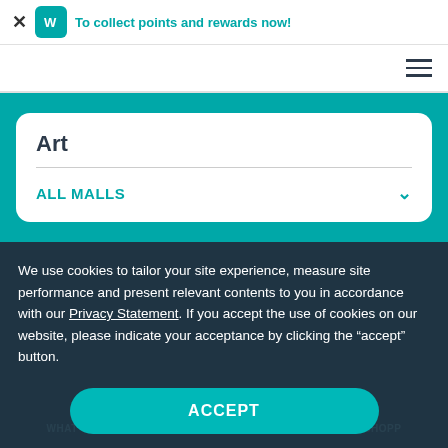To collect points and rewards now!
Art
ALL MALLS
We use cookies to tailor your site experience, measure site performance and present relevant contents to you in accordance with our Privacy Statement. If you accept the use of cookies on our website, please indicate your acceptance by clicking the “accept” button.
ACCEPT
WHAT'S HAPPENING   REWARDS   SHOPP